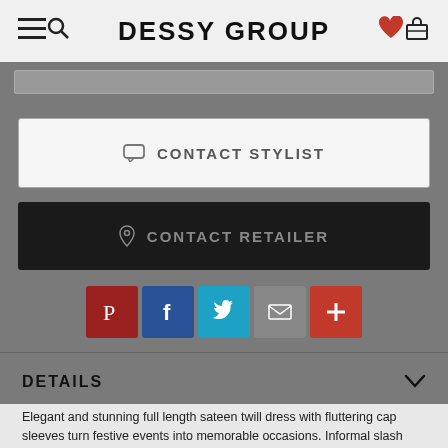DESSY GROUP
CONTACT STYLIST
CONTACT RETAILER
[Figure (other): Social sharing icons row: Pinterest (red), Facebook (blue), Twitter (light blue), Email (grey), More/Plus (red-orange)]
DETAILS
Elegant and stunning full length sateen twill dress with fluttering cap sleeves turn festive events into memorable occasions. Informal slash pockets along the A-line skirt lend a casual, carefree vibe to any